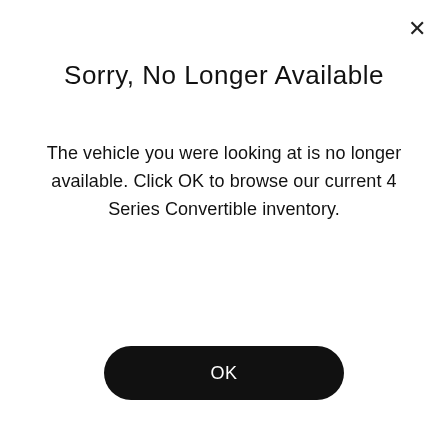Sorry, No Longer Available
The vehicle you were looking at is no longer available. Click OK to browse our current 4 Series Convertible inventory.
OK